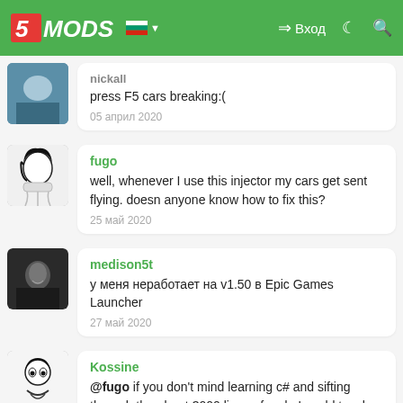5MODS | Вход
press F5 cars breaking:(
05 април 2020
fugo
well, whenever I use this injector my cars get sent flying. doesn anyone know how to fix this?
25 май 2020
medison5t
у меня неработает на v1.50 в Epic Games Launcher
27 май 2020
Kossine
@fugo if you don't mind learning c# and sifting through the about 3000 lines of code I could teach yo [X]
27 май 2020